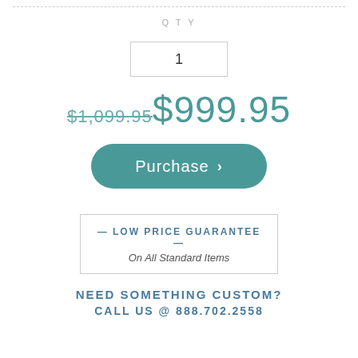QTY
1
$1,099.95 $999.95
Purchase »
— LOW PRICE GUARANTEE — On All Standard Items
NEED SOMETHING CUSTOM? CALL US @ 888.702.2558